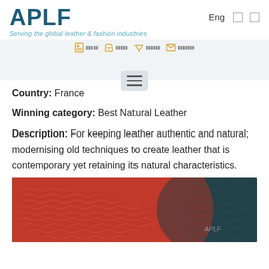[Figure (logo): APLF logo with tagline 'Serving the global leather & fashion industries']
[Figure (screenshot): Website navigation bar with icons for contact, phone, email and menu items in orange/yellow color]
Country: France
Winning category: Best Natural Leather
Description: For keeping leather authentic and natural; modernising old techniques to create leather that is contemporary yet retaining its natural characteristics.
[Figure (photo): Close-up photograph of textured red leather with wavy embossed pattern on the left and dark teal/black leather on the right]